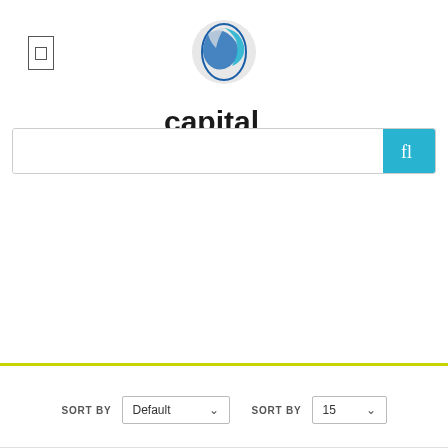[Figure (logo): Capital Delivering Brands logo with globe icon above text]
[Figure (screenshot): Search bar with teal search button on the right with a magnifier icon]
SORT BY  Default  SORT BY  15